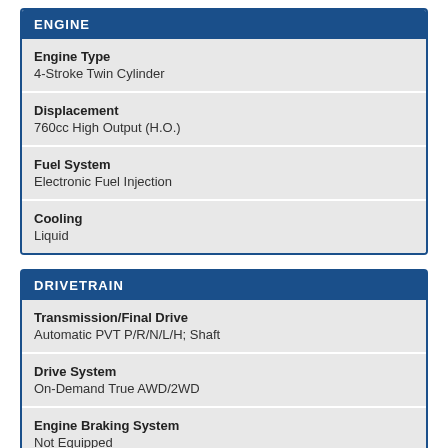ENGINE
| Specification | Value |
| --- | --- |
| Engine Type | 4-Stroke Twin Cylinder |
| Displacement | 760cc High Output (H.O.) |
| Fuel System | Electronic Fuel Injection |
| Cooling | Liquid |
DRIVETRAIN
| Specification | Value |
| --- | --- |
| Transmission/Final Drive | Automatic PVT P/R/N/L/H; Shaft |
| Drive System | On-Demand True AWD/2WD |
| Engine Braking System | Not Equipped |